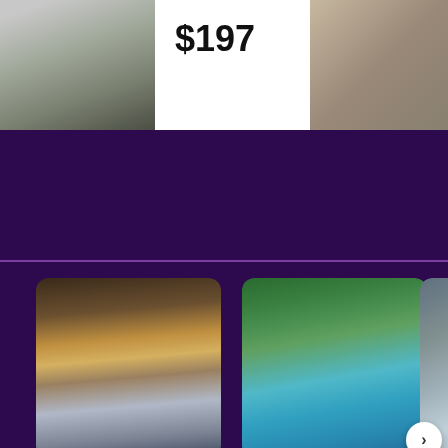[Figure (photo): Airport interior photo on the left side of the top banner]
$197
[Figure (photo): Hotel or interior photo on the right side of the top banner]
[Figure (photo): Traveler with luggage at airport, flight departures board in background]
Get the latest Adelaide flight insights
Find the best time to travel, cheapest fares
[Figure (photo): Family playing in a swimming pool at a hotel]
Start planning your trip today
Get an overview of the top hotels in the
[Figure (photo): Partially visible third card image]
Top ca... Adelai...
Exper... from